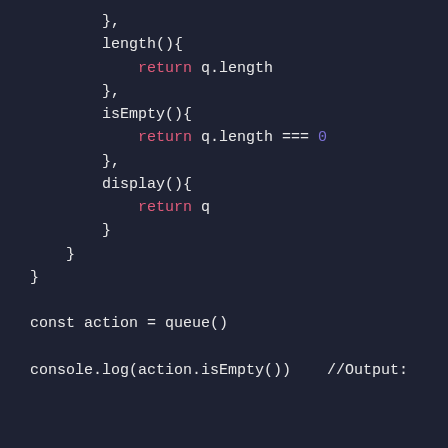},
        length(){
            return q.length
        },
        isEmpty(){
            return q.length === 0
        },
        display(){
            return q
        }
    }
}

const action = queue()

console.log(action.isEmpty())    //Output: